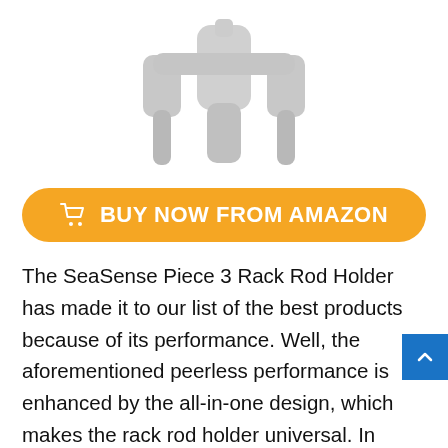[Figure (photo): Partial product image of a white SeaSense Piece 3 Rack Rod Holder, showing the top portion of the device against a white background.]
BUY NOW FROM AMAZON
The SeaSense Piece 3 Rack Rod Holder has made it to our list of the best products because of its performance. Well, the aforementioned peerless performance is enhanced by the all-in-one design, which makes the rack rod holder universal. In other words, it makes the rod holder perfect for holding different types of rods. This rod holder also boasts single construction to allow it to remain steady and overcome any abuse. It is very